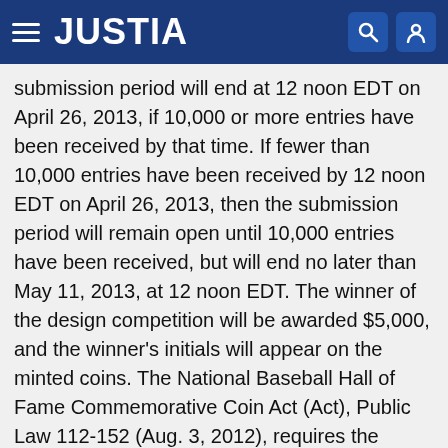JUSTIA
submission period will end at 12 noon EDT on April 26, 2013, if 10,000 or more entries have been received by that time. If fewer than 10,000 entries have been received by 12 noon EDT on April 26, 2013, then the submission period will remain open until 10,000 entries have been received, but will end no later than May 11, 2013, at 12 noon EDT. The winner of the design competition will be awarded $5,000, and the winner's initials will appear on the minted coins. The National Baseball Hall of Fame Commemorative Coin Act (Act), Public Law 112-152 (Aug. 3, 2012), requires the Secretary of the Treasury to mint and issue three 2014 commemorative coins to recognize and celebrate the National Baseball Hall of Fame: up to 50,000 $5 gold coins, up to 400,000 $1 silver coins, and up to 750,000 half-dollar clad coins. The Act requires a competition, which Challenge.gov is hosting, to select a common